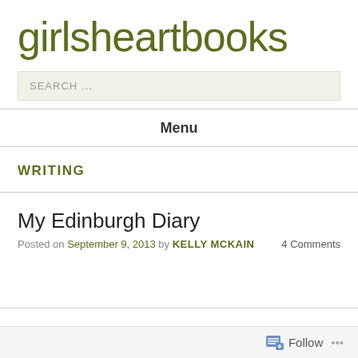girlsheartbooks
SEARCH ...
Menu
WRITING
My Edinburgh Diary
Posted on September 9, 2013 by KELLY MCKAIN   4 Comments
Follow ...